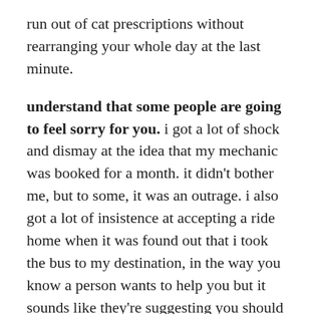run out of cat prescriptions without rearranging your whole day at the last minute.
understand that some people are going to feel sorry for you. i got a lot of shock and dismay at the idea that my mechanic was booked for a month. it didn't bother me, but to some, it was an outrage. i also got a lot of insistence at accepting a ride home when it was found out that i took the bus to my destination, in the way you know a person wants to help you but it sounds like they're suggesting you should never have to do something as lowly as public transit. sometimes it feels weird to have people pity you for something you feel good about. the complicated feedback loops at work here are not about you. you can comfort them that you